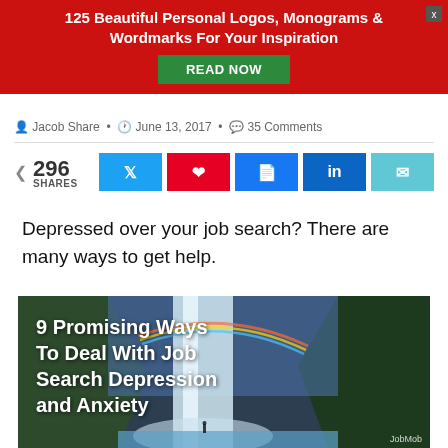125 Beautiful Personal Logos, Monograms & Wordmarks For Your Inspiration
READ NOW
Jacob Share • June 13, 2017 • 35 Comments
296 SHARES
Depressed over your job search? There are many ways to get help.
[Figure (photo): Article featured image showing a waterfall with a rainbow and overlaid text '9 Promising Ways To Deal With Job Search Depression and Anxiety' with JobMob branding]